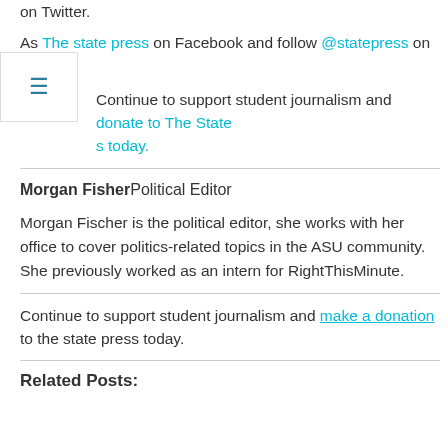on Twitter.
As The state press on Facebook and follow @statepress on Twitter.
Continue to support student journalism and donate to The State s today.
Morgan FisherPolitical Editor
Morgan Fischer is the political editor, she works with her office to cover politics-related topics in the ASU community. She previously worked as an intern for RightThisMinute.
Continue to support student journalism and make a donation to the state press today.
Related Posts: